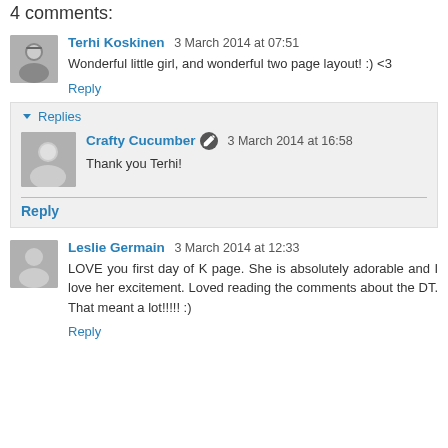4 comments:
Terhi Koskinen  3 March 2014 at 07:51
Wonderful little girl, and wonderful two page layout! :) <3
Reply
Replies
Crafty Cucumber  3 March 2014 at 16:58
Thank you Terhi!
Reply
Leslie Germain  3 March 2014 at 12:33
LOVE you first day of K page. She is absolutely adorable and I love her excitement. Loved reading the comments about the DT. That meant a lot!!!!! :)
Reply